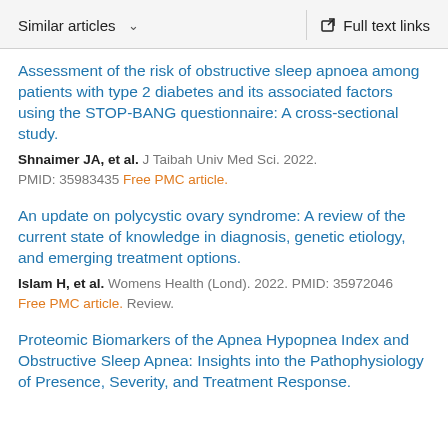Similar articles   ∨   Full text links
Assessment of the risk of obstructive sleep apnoea among patients with type 2 diabetes and its associated factors using the STOP-BANG questionnaire: A cross-sectional study.
Shnaimer JA, et al. J Taibah Univ Med Sci. 2022.
PMID: 35983435 Free PMC article.
An update on polycystic ovary syndrome: A review of the current state of knowledge in diagnosis, genetic etiology, and emerging treatment options.
Islam H, et al. Womens Health (Lond). 2022. PMID: 35972046
Free PMC article. Review.
Proteomic Biomarkers of the Apnea Hypopnea Index and Obstructive Sleep Apnea: Insights into the Pathophysiology of Presence, Severity, and Treatment Response.